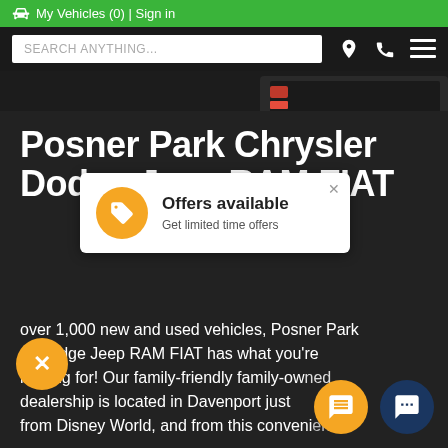🚗 My Vehicles (0) | Sign in
[Figure (screenshot): Navigation bar with search input 'SEARCH ANYTHING...' and icons for location, phone, and menu on dark background]
[Figure (photo): Hero image showing the rear of a vehicle driving on a road with yellow center lines]
Posner Park Chrysler Dodge Jeep RAM FIAT
[Figure (infographic): White popup card with orange circle tag icon, title 'Offers available', subtitle 'Get limited time offers', and an X close button]
over 1,000 new and used vehicles, Posner Park er Dodge Jeep RAM FIAT has what you're looking for! Our family-friendly family-owned dealership is located in Davenport just he from Disney World, and from this convenient